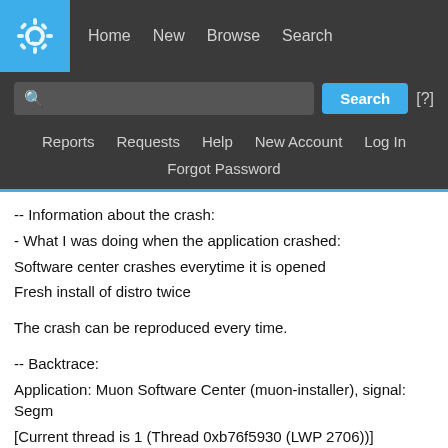KDE Bugtracker — Home  New  Browse  Search
-- Information about the crash:
- What I was doing when the application crashed:
Software center crashes everytime it is opened
Fresh install of distro twice

The crash can be reproduced every time.

-- Backtrace:
Application: Muon Software Center (muon-installer), signal: Segm
[Current thread is 1 (Thread 0xb76f5930 (LWP 2706))]

Thread 2 (Thread 0xb589bb70 (LWP 2710)):